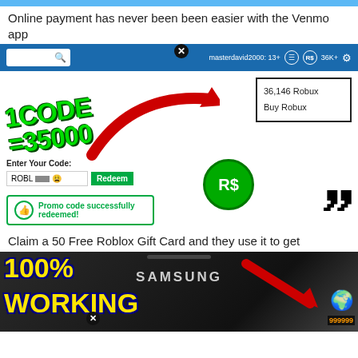Online payment has never been easier with the Venmo app
[Figure (screenshot): Roblox promo code redemption screenshot showing '1 CODE = 35000' in green text with a red arrow pointing to 36,146 Robux balance. Shows code entry field with ROBL*** and Redeem button, promo code successfully redeemed message, Roblox R$ logo circle, and a shocked face emoji.]
Claim a 50 Free Roblox Gift Card and they use it to get
[Figure (screenshot): Samsung phone screenshot showing '100% WORKING' in yellow text with red arrow and gold coins showing 999999, with a close button overlay.]